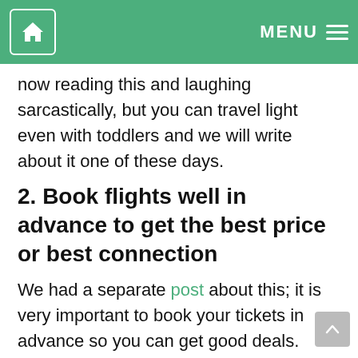HOME   MENU
now reading this and laughing sarcastically, but you can travel light even with toddlers and we will write about it one of these days.
2. Book flights well in advance to get the best price or best connection
We had a separate post about this; it is very important to book your tickets in advance so you can get good deals. Unfortunately, with the situation today with coronavirus any long-term planning is out of window for now, so